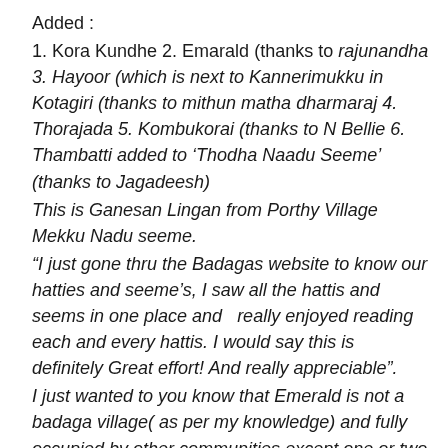Added :
1. Kora Kundhe 2. Emarald (thanks to rajunandha
3. Hayoor (which is next to Kannerimukku in Kotagiri (thanks to mithun matha dharmaraj 4. Thorajada 5. Kombukorai (thanks to N Bellie 6. Thambatti added to 'Thodha Naadu Seeme' (thanks to Jagadeesh)
This is Ganesan Lingan from Porthy Village Mekku Nadu seeme.
“I just gone thru the Badagas website to know our hatties and seeme’s, I saw all the hattis and seems in one place and  really enjoyed reading each and every hattis. I would say this is definitely Great effort! And really appreciable”.
I just wanted to you know that Emerald is not a badaga village( as per my knowledge) and fully occupied by other communities except one or two badgas having provisional stores and houses along with that, So I request you the